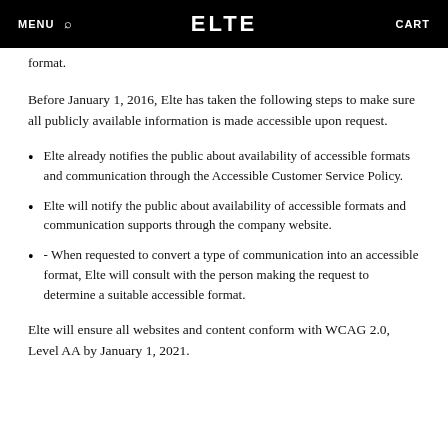MENU  🔍  ELTE  CART
format.
Before January 1, 2016, Elte has taken the following steps to make sure all publicly available information is made accessible upon request.
Elte already notifies the public about availability of accessible formats and communication through the Accessible Customer Service Policy.
Elte will notify the public about availability of accessible formats and communication supports through the company website.
- When requested to convert a type of communication into an accessible format, Elte will consult with the person making the request to determine a suitable accessible format.
Elte will ensure all websites and content conform with WCAG 2.0, Level AA by January 1, 2021.